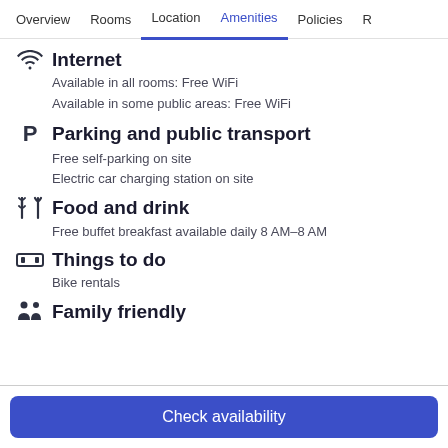Overview  Rooms  Location  Amenities  Policies  R
Internet
Available in all rooms: Free WiFi
Available in some public areas: Free WiFi
Parking and public transport
Free self-parking on site
Electric car charging station on site
Food and drink
Free buffet breakfast available daily 8 AM–8 AM
Things to do
Bike rentals
Family friendly
Check availability